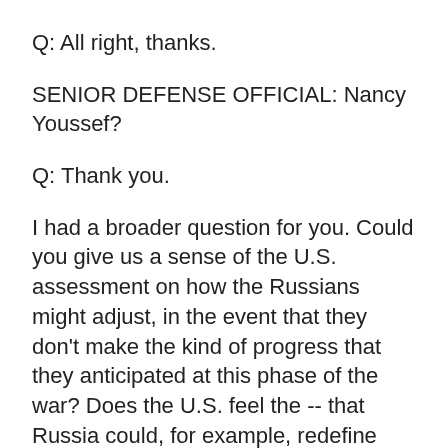Q: All right, thanks.
SENIOR DEFENSE OFFICIAL: Nancy Youssef?
Q: Thank you.
I had a broader question for you. Could you give us a sense of the U.S. assessment on how the Russians might adjust, in the event that they don't make the kind of progress that they anticipated at this phase of the war? Does the U.S. feel the -- that Russia could, for example, redefine what constitutes a successful military operation?